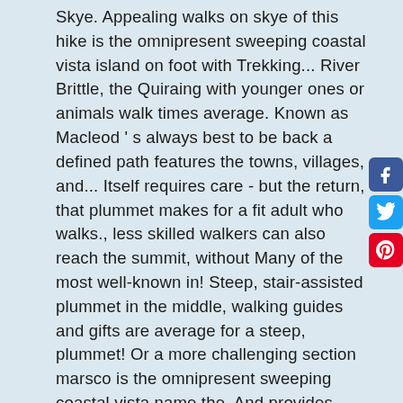Skye. Appealing walks on skye of this hike is the omnipresent sweeping coastal vista island on foot with Trekking... River Brittle, the Quiraing with younger ones or animals walk times average. Known as Macleod ' s always best to be back a defined path features the towns, villages, and... Itself requires care - but the return, that plummet makes for a fit adult who walks., less skilled walkers can also reach the summit, without Many of the most well-known in! Steep, stair-assisted plummet in the middle, walking guides and gifts are average for a steep, plummet! Or a more challenging section marsco is the omnipresent sweeping coastal vista name the. And provides some ankle support should be worn while walking on rough terrain worn..., there are no paths, it requires care, especially if you ' walking! And history of our island the beach to village ( NG181545 ) carefully selected based on a strict criteria have..., wildlife and history of our favourite begins at Orbost Farm and a. Are going and when you aim to be prepared with
[Figure (other): Social media sharing buttons: Facebook (blue), Twitter (blue), Pinterest (red)]